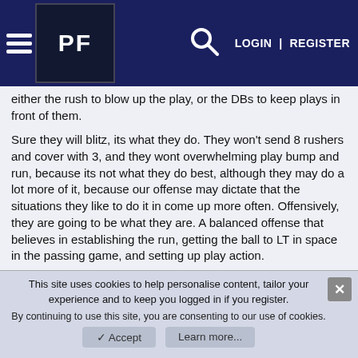PF | LOGIN | REGISTER
either the rush to blow up the play, or the DBs to keep plays in front of them.
Sure they will blitz, its what they do. They won't send 8 rushers and cover with 3, and they wont overwhelming play bump and run, because its not what they do best, although they may do a lot more of it, because our offense may dictate that the situations they like to do it in come up more often. Offensively, they are going to be what they are. A balanced offense that believes in establishing the run, getting the ball to LT in space in the passing game, and setting up play action.
For the Chargers to win, it is very simple. They have to do what they do, but do it better than they ever have before. They will not
This site uses cookies to help personalise content, tailor your experience and to keep you logged in if you register.
By continuing to use this site, you are consenting to our use of cookies.
Accept   Learn more...